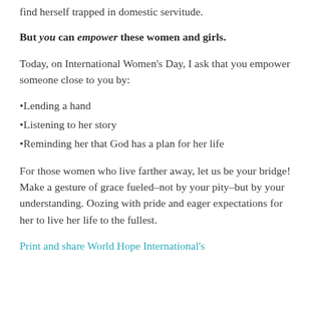find herself trapped in domestic servitude.
But you can empower these women and girls.
Today, on International Women's Day, I ask that you empower someone close to you by:
Lending a hand
Listening to her story
Reminding her that God has a plan for her life
For those women who live farther away, let us be your bridge! Make a gesture of grace fueled–not by your pity–but by your understanding. Oozing with pride and eager expectations for her to live her life to the fullest.
Print and share World Hope International's